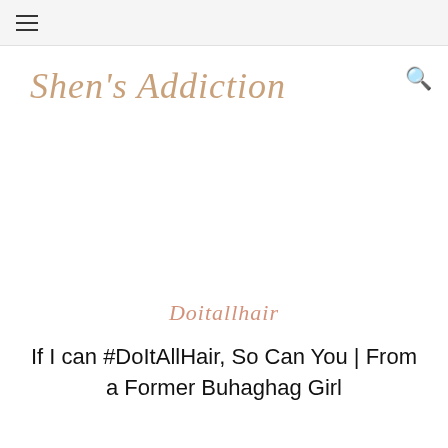≡
Shen's Addiction
Doitallhair
If I can #DoItAllHair, So Can You | From a Former Buhaghag Girl